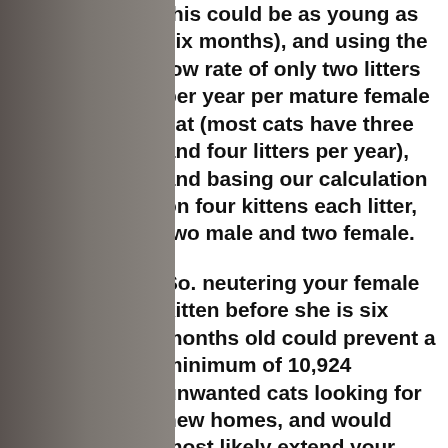this could be as young as six months), and using the low rate of only two litters per year per mature female cat (most cats have three and four litters per year), and basing our calculation on four kittens each litter, two male and two female.
So. neutering your female kitten before she is six months old could prevent a minimum of 10,924 unwanted cats looking for new homes, and would most likely extend your cat's life by excluding the many risks involved in having kittens. It is a myth that cats should be allowed to have one litter first.
Why put your cat at risk?
[Figure (photo): A cat outdoors near a wooden slatted structure with plants/greenery in the background]